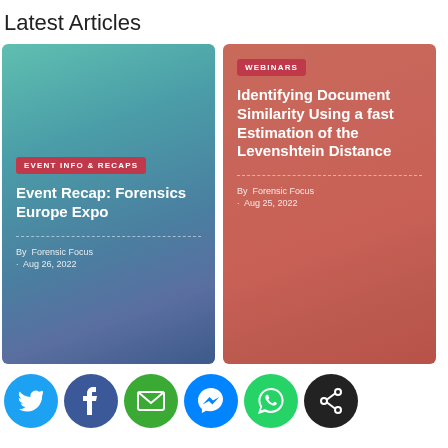Latest Articles
[Figure (illustration): Article card with teal/blue gradient background. Badge: EVENT INFO & RECAPS. Title: Event Recap: Forensics Europe Expo. By: Forensic Focus. Date: Aug 26, 2022.]
[Figure (illustration): Article card with red/salmon gradient background. Badge: WEBINARS. Title: Identifying Document Similarity Using a fast Estimation of the Levenshtein Distance. By: Forensic Focus. Date: Aug 25, 2022.]
[Figure (infographic): Social sharing buttons row: Twitter (blue), Facebook (dark blue), Email (green), Messenger (blue), WhatsApp (green), Share (black).]